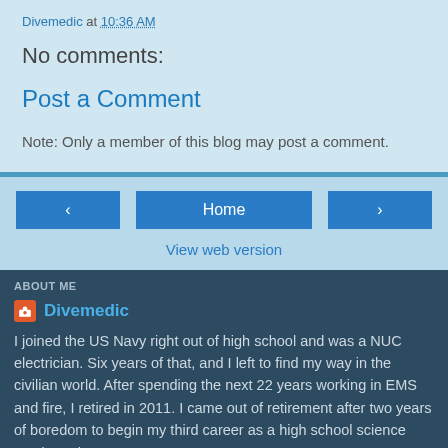Divemedic at 10:36 AM
No comments:
Post a Comment
Note: Only a member of this blog may post a comment.
Home
View web version
ABOUT ME
Divemedic
I joined the US Navy right out of high school and was a NUC electrician. Six years of that, and I left to find my way in the civilian world. After spending the next 22 years working in EMS and fire, I retired in 2011. I came out of retirement after two years of boredom to begin my third career as a high school science teacher. I have a